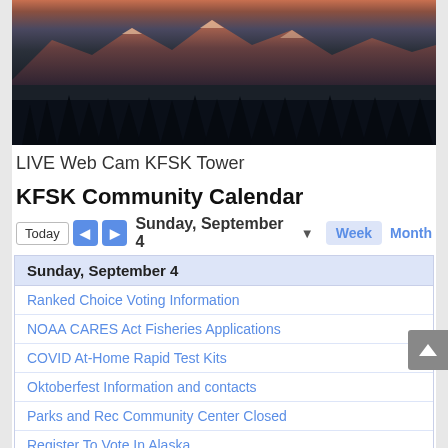[Figure (photo): Landscape photo showing mountains with orange/pink sunrise sky and dark conifer tree silhouettes in the foreground, taken from a KFSK tower webcam.]
LIVE Web Cam KFSK Tower
KFSK Community Calendar
Today  ◄  ►  Sunday, September 4  ▼  Week  Month
| Time | Event |
| --- | --- |
|  | Sunday, September 4 |
|  | Ranked Choice Voting Information |
|  | NOAA CARES Act Fisheries Applications |
|  | COVID At-Home Rapid Test Kits |
|  | Oktoberfest Information and contacts |
|  | Parks and Rec Community Center Closed |
|  | Register To Vote In Alaska |
| 8:30am | St. Catherine's Catholic Church Mass, 3rd a |
| 10:00am | Petersburg Lutheran Church Sunday Servic |
| 11:00am | First Baptist Church Sunday Service at 5th |